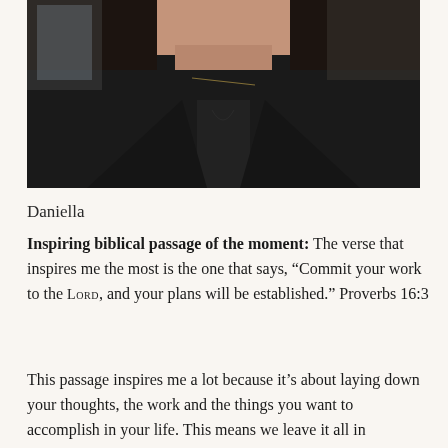[Figure (photo): Close-up photo of a person wearing a dark black jacket/top, taken from chin level down, showing the neckline and upper torso. Background is blurred, appears to be indoors.]
Daniella
Inspiring biblical passage of the moment: The verse that inspires me the most is the one that says, “Commit your work to the Lord, and your plans will be established.” Proverbs 16:3
This passage inspires me a lot because it’s about laying down your thoughts, the work and the things you want to accomplish in your life. This means we leave it all in